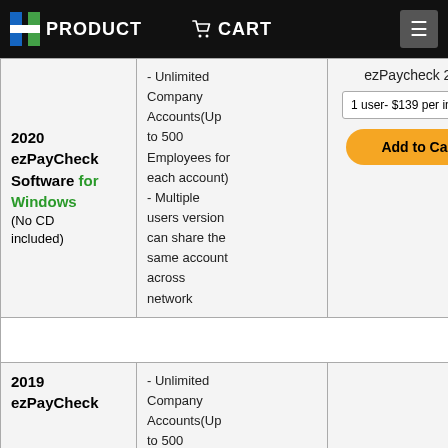PRODUCT   CART
| Product | Features | Order |
| --- | --- | --- |
| 2020 ezPayCheck Software for Windows (No CD included) | - Unlimited Company Accounts(Up to 500 Employees for each account) - Multiple users version can share the same account across network | ezPaycheck 2020 | 1 user- $139 per installation | Add to Cart |
| 2019 ezPayCheck ... | - Unlimited Company Accounts(Up to 500 Employees for ... |  |